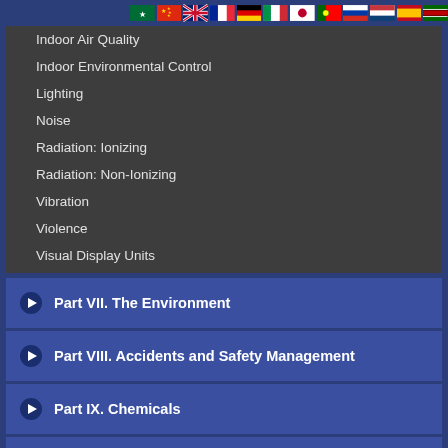[Figure (other): Row of country flag icons at top]
Indoor Air Quality
Indoor Environmental Control
Lighting
Noise
Radiation: Ionizing
Radiation: Non-Ionizing
Vibration
Violence
Visual Display Units
Part VII. The Environment
Part VIII. Accidents and Safety Management
Part IX. Chemicals
Part X. Industries Based on Biological Resources